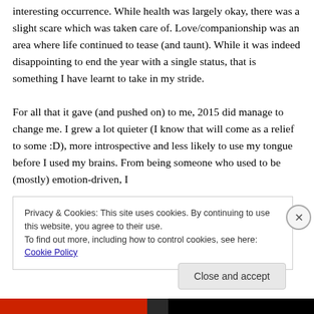interesting occurrence. While health was largely okay, there was a slight scare which was taken care of. Love/companionship was an area where life continued to tease (and taunt). While it was indeed disappointing to end the year with a single status, that is something I have learnt to take in my stride.

For all that it gave (and pushed on) to me, 2015 did manage to change me. I grew a lot quieter (I know that will come as a relief to some :D), more introspective and less likely to use my tongue before I used my brains. From being someone who used to be (mostly) emotion-driven, I
Privacy & Cookies: This site uses cookies. By continuing to use this website, you agree to their use.
To find out more, including how to control cookies, see here: Cookie Policy
Close and accept